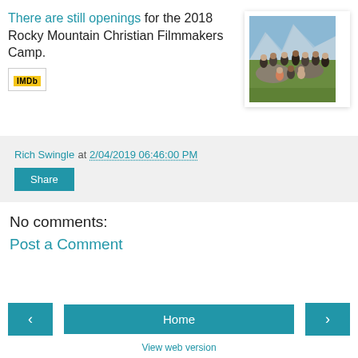There are still openings for the 2018 Rocky Mountain Christian Filmmakers Camp.
[Figure (photo): Group photo of people sitting outdoors on rocks with mountain scenery and blue sky in background]
Rich Swingle at 2/04/2019 06:46:00 PM
Share
No comments:
Post a Comment
Home
View web version